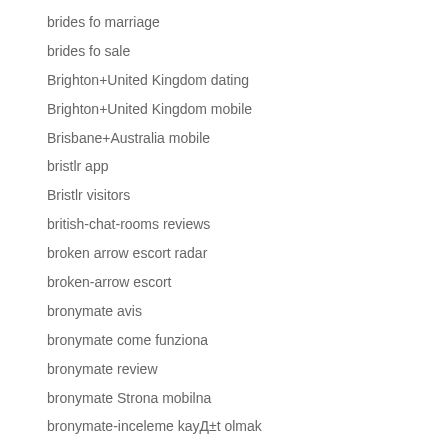brides fo marriage
brides fo sale
Brighton+United Kingdom dating
Brighton+United Kingdom mobile
Brisbane+Australia mobile
bristlr app
Bristlr visitors
british-chat-rooms reviews
broken arrow escort radar
broken-arrow escort
bronymate avis
bronymate come funziona
bronymate review
bronymate Strona mobilna
bronymate-inceleme kayД±t olmak